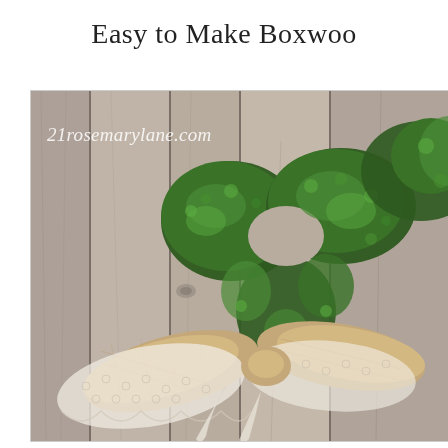Easy to Make Boxwoo
[Figure (photo): A boxwood heart wreath with a burlap and lace bow, hung against a weathered gray wooden plank background. Watermark reads '21rosemarylane.com'.]